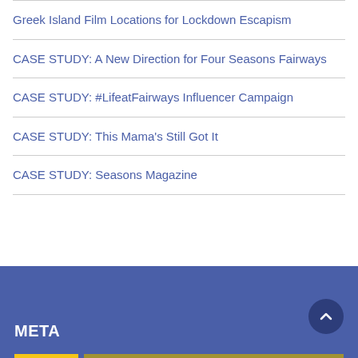Greek Island Film Locations for Lockdown Escapism
CASE STUDY: A New Direction for Four Seasons Fairways
CASE STUDY: #LifeatFairways Influencer Campaign
CASE STUDY: This Mama's Still Got It
CASE STUDY: Seasons Magazine
META